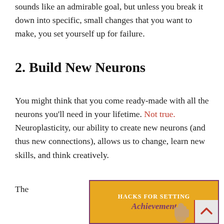sounds like an admirable goal, but unless you break it down into specific, small changes that you want to make, you set yourself up for failure.
2. Build New Neurons
You might think that you come ready-made with all the neurons you’ll need in your lifetime. Not true. Neuroplasticity, our ability to create new neurons (and thus new connections), allows us to change, learn new skills, and think creatively.
The
[Figure (illustration): Book cover or promotional image with orange/gold background, purple border, text reading 'Hacks for Setting Achievement' in white and purple script, with a hand gesture and a red/grey arrow box in the corner.]